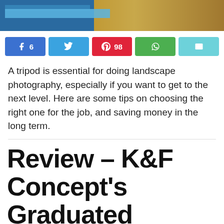[Figure (photo): Top portion of a landscape photograph showing blue sky/structure on the left and sandy/rocky terrain on the right]
Share buttons: Facebook (6), Twitter, Pinterest (98), WhatsApp, Email
A tripod is essential for doing landscape photography, especially if you want to get to the next level. Here are some tips on choosing the right one for the job, and saving money in the long term.
Review – K&F Concept's Graduated Neutral Density